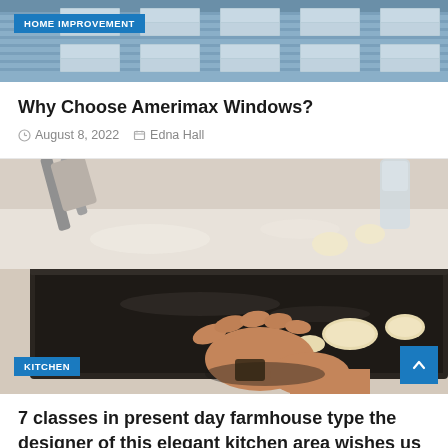[Figure (photo): Exterior of a building with blue-grey siding and windows, viewed from below]
HOME IMPROVEMENT
Why Choose Amerimax Windows?
August 8, 2022   Edna Hall
[Figure (photo): A hand placing unbaked cookie dough shapes on a dark baking tray, with a spatula and more cookies visible in the background]
KITCHEN
7 classes in present day farmhouse type the designer of this elegant kitchen area wishes us to study